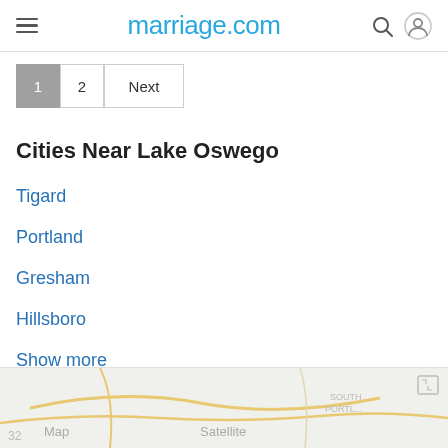marriage.com
1  2  Next
Cities Near Lake Oswego
Tigard
Portland
Gresham
Hillsboro
Show more
[Figure (map): Map view showing area near Lake Oswego with roads and labels, with Map and Satellite toggle buttons visible]